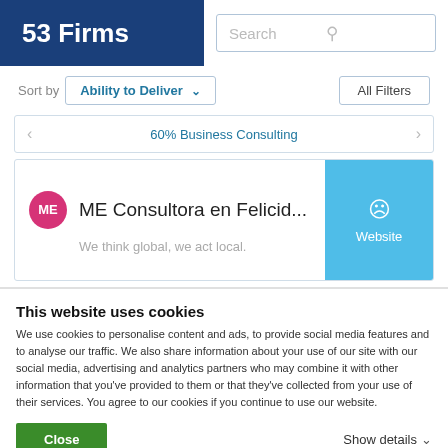53 Firms
Search
Sort by  Ability to Deliver
All Filters
60% Business Consulting
ME Consultora en Felicid...
We think global, we act local.
Website
This website uses cookies
We use cookies to personalise content and ads, to provide social media features and to analyse our traffic. We also share information about your use of our site with our social media, advertising and analytics partners who may combine it with other information that you've provided to them or that they've collected from your use of their services. You agree to our cookies if you continue to use our website.
Close
Show details